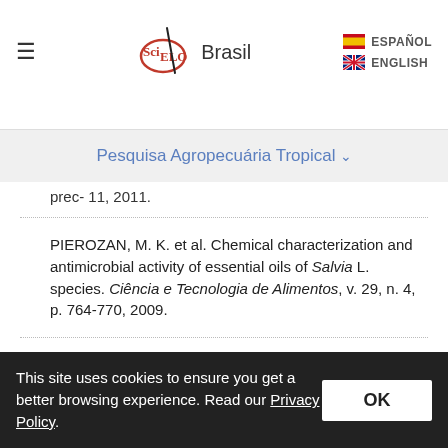SciELO Brasil | ESPAÑOL | ENGLISH
Pesquisa Agropecuária Tropical ▾
prec- 11, 2011.
PIEROZAN, M. K. et al. Chemical characterization and antimicrobial activity of essential oils of Salvia L. species. Ciência e Tecnologia de Alimentos, v. 29, n. 4, p. 764-770, 2009.
PROCÓPIO, S. O. et al. Bioatividade de diversos pós de origem vegetal em relação a Sitophilus zeamais Most. (Coleoptera: Curculionidae). Ciência e Agrotecnologia, v. 27, n. 6, p. 1231-1236, 2003.
This site uses cookies to ensure you get a better browsing experience. Read our Privacy Policy.